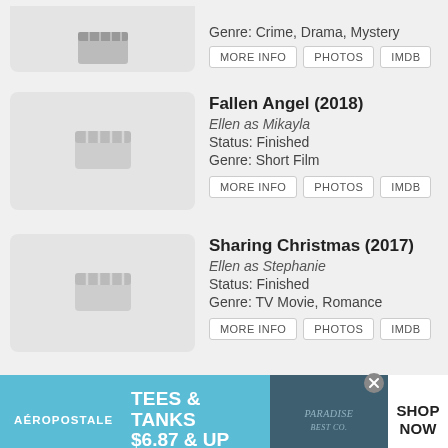Genre: Crime, Drama, Mystery
MORE INFO | PHOTOS | IMDB (buttons)
Fallen Angel (2018)
Ellen as Mikayla
Status: Finished
Genre: Short Film
MORE INFO | PHOTOS | IMDB (buttons)
Sharing Christmas (2017)
Ellen as Stephanie
Status: Finished
Genre: TV Movie, Romance
MORE INFO | PHOTOS | IMDB (buttons)
The Good Nanny (2017)
Ellen as Lily Walsh
Status: Finished
[Figure (infographic): Aeropostale advertisement banner: TEES & TANKS $6.87 & UP, SHOP NOW]